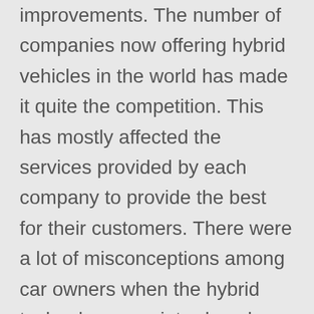improvements. The number of companies now offering hybrid vehicles in the world has made it quite the competition. This has mostly affected the services provided by each company to provide the best for their customers. There were a lot of misconceptions among car owners when the hybrid technology was introduced. Many people thought that the batteries of hybrid cars posed a threat to the reliability of them as they could break and cost a ton to repair. Studies done on these vehicles by companies have shown consistent results of the batteries working correctly in the harshest conditions for up to 200,000. Due to the competition in this car segment, many companies have started offering low rates for replacement and repair of the